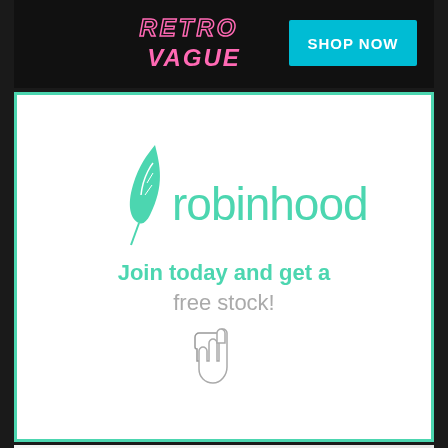[Figure (illustration): RetroVague brand advertisement with pink retro-styled logo and cyan SHOP NOW button on dark background]
[Figure (illustration): Robinhood investment app advertisement with green feather logo, brand name, tagline 'Join today and get a free stock!' and pointer cursor icon on white background with teal border]
[Figure (illustration): Ebates cash back shopping advertisement with cartoon Monopoly-man character holding money, text 'Earn Cash Back for Shopping!', Sign Up Now button, and Ebates logo]